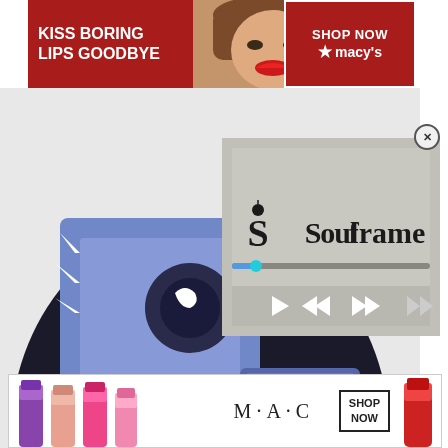[Figure (screenshot): Macy's banner ad with text KISS BORING LIPS GOODBYE, woman model, SHOP NOW button and Macy's star logo on red background]
[Figure (screenshot): Steampunk Wolf game character image - blue blocky wolf character with dark outline, partially overlaid by a Soulframe video player overlay with playback controls and progress bar]
[Figure (screenshot): Soulframe video overlay player with gothic-style Soulframe logo text, progress bar with cyan playhead, and media control buttons on textured grey background]
Steampunk Wolf
How to obtain:
Hatched from Steampunk Egg
[Figure (screenshot): MAC cosmetics banner ad showing colorful lipsticks in purple, pink shades, MAC logo text, SHOP NOW box, and red lipstick on white background]